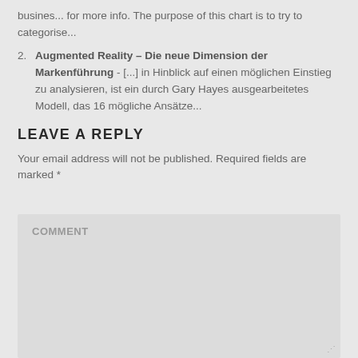busines... for more info. The purpose of this chart is to try to categorise...
2. Augmented Reality – Die neue Dimension der Markenführung - [...] in Hinblick auf einen möglichen Einstieg zu analysieren, ist ein durch Gary Hayes ausgearbeitetes Modell, das 16 mögliche Ansätze...
LEAVE A REPLY
Your email address will not be published. Required fields are marked *
COMMENT